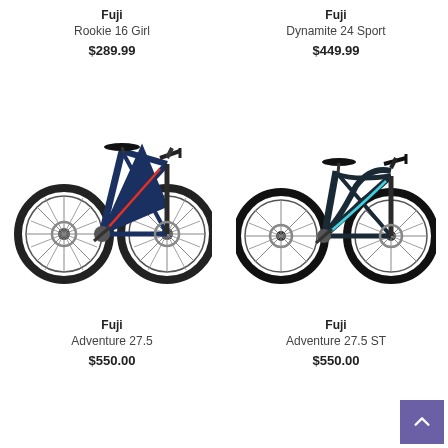Fuji
Rookie 16 Girl
$289.99
Fuji
Dynamite 24 Sport
$449.99
[Figure (photo): Fuji Adventure 27.5 mountain bike in dark blue with red accents, facing right]
[Figure (photo): Fuji Adventure 27.5 ST mountain bike in dark teal/blue with light blue accents, facing right]
Fuji
Adventure 27.5
$550.00
Fuji
Adventure 27.5 ST
$550.00